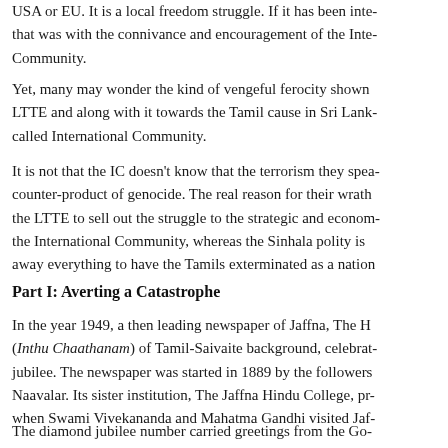USA or EU. It is a local freedom struggle. If it has been inte- that was with the connivance and encouragement of the Inte- Community.
Yet, many may wonder the kind of vengeful ferocity shown LTTE and along with it towards the Tamil cause in Sri Lank- called International Community.
It is not that the IC doesn't know that the terrorism they spea- counter-product of genocide. The real reason for their wrath the LTTE to sell out the struggle to the strategic and econom- the International Community, whereas the Sinhala polity is away everything to have the Tamils exterminated as a nation
Part I: Averting a Catastrophe
In the year 1949, a then leading newspaper of Jaffna, The H (Inthu Chaathanam) of Tamil-Saivaite background, celebrat- jubilee. The newspaper was started in 1889 by the followers Naavalar. Its sister institution, The Jaffna Hindu College, pr- when Swami Vivekananda and Mahatma Gandhi visited Jaf-
The diamond jubilee number carried greetings from the Go- of independent India and Ceylon in its opening page, in whi-